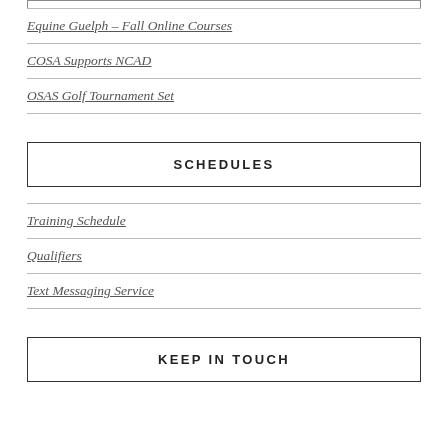Equine Guelph – Fall Online Courses
COSA Supports NCAD
OSAS Golf Tournament Set
SCHEDULES
Training Schedule
Qualifiers
Text Messaging Service
KEEP IN TOUCH